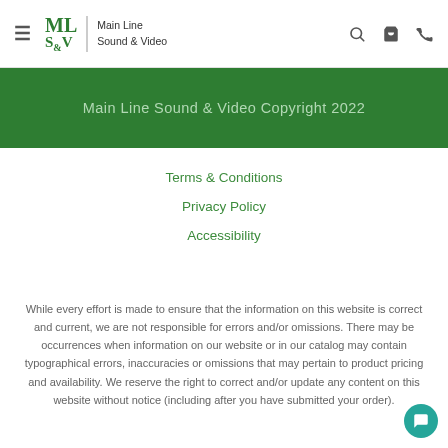Main Line Sound & Video — navigation header with hamburger menu, logo, search, cart, phone icons
Main Line Sound & Video Copyright 2022
Terms & Conditions
Privacy Policy
Accessibility
While every effort is made to ensure that the information on this website is correct and current, we are not responsible for errors and/or omissions. There may be occurrences when information on our website or in our catalog may contain typographical errors, inaccuracies or omissions that may pertain to product pricing and availability. We reserve the right to correct and/or update any content on this website without notice (including after you have submitted your order).